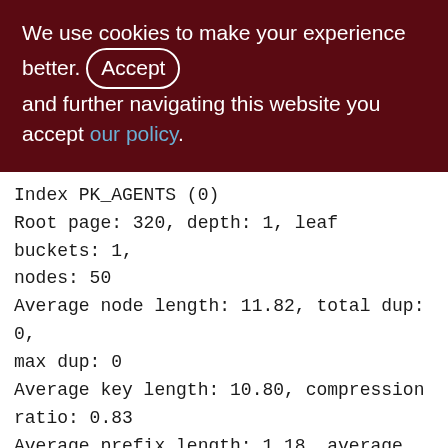We use cookies to make your experience better. By accepting and further navigating this website you accept our policy.
Index PK_AGENTS (0)
Root page: 320, depth: 1, leaf buckets: 1, nodes: 50
Average node length: 11.82, total dup: 0, max dup: 0
Average key length: 10.80, compression ratio: 0.83
Average prefix length: 1.18, average data length: 7.82
Clustering factor: 1, ratio: 0.02
Fill distribution:
0 - 19% = 1